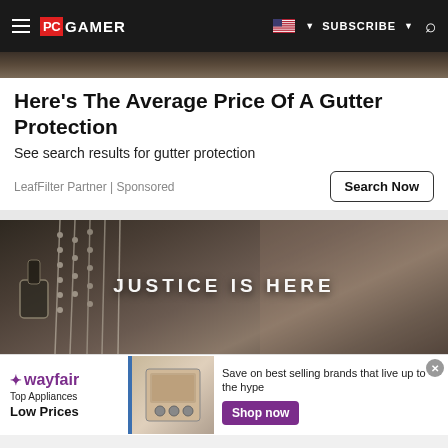PC GAMER | SUBSCRIBE
[Figure (photo): Partial photo strip at top, muted tones]
Here's The Average Price Of A Gutter Protection
See search results for gutter protection
LeafFilter Partner | Sponsored
[Figure (photo): Dog tags and bead chains hanging on wooden wall with text JUSTICE IS HERE overlay]
[Figure (infographic): Wayfair advertisement banner: Top Appliances Low Prices, Save on best selling brands that live up to the hype, Shop now]